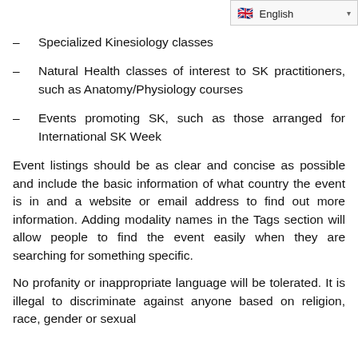[Figure (other): English language selector badge with UK flag in top right corner]
– Specialized Kinesiology classes
– Natural Health classes of interest to SK practitioners, such as Anatomy/Physiology courses
– Events promoting SK, such as those arranged for International SK Week
Event listings should be as clear and concise as possible and include the basic information of what country the event is in and a website or email address to find out more information. Adding modality names in the Tags section will allow people to find the event easily when they are searching for something specific.
No profanity or inappropriate language will be tolerated. It is illegal to discriminate against anyone based on religion, race, gender or sexual